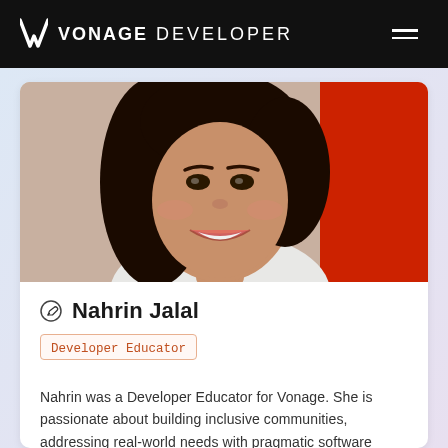VONAGE DEVELOPER
[Figure (photo): Portrait photo of Nahrin Jalal, a smiling woman with long dark hair, wearing a light-colored top. Background has red element visible.]
Nahrin Jalal
Developer Educator
Nahrin was a Developer Educator for Vonage. She is passionate about building inclusive communities, addressing real-world needs with pragmatic software solutions, and creating technical content tha